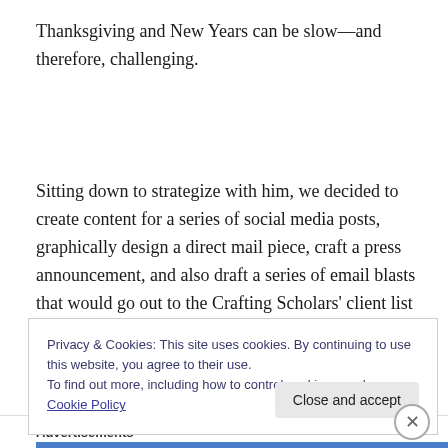Thanksgiving and New Years can be slow—and therefore, challenging.
Sitting down to strategize with him, we decided to create content for a series of social media posts, graphically design a direct mail piece, craft a press announcement, and also draft a series of email blasts that would go out to the Crafting Scholars' client list as well as prospects.
Privacy & Cookies: This site uses cookies. By continuing to use this website, you agree to their use.
To find out more, including how to control cookies, see here: Cookie Policy
Close and accept
Advertisements